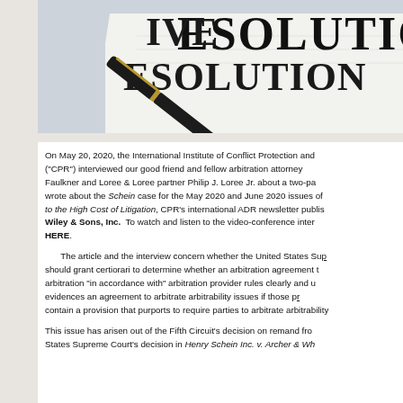[Figure (photo): Photo of a fountain pen resting on a document with large bold text reading 'RESOLUTION' visible in the background, suggesting an alternative dispute resolution context.]
On May 20, 2020, the International Institute of Conflict Protection and ("CPR") interviewed our good friend and fellow arbitration attorney Faulkner and Loree & Loree partner Philip J. Loree Jr. about a two-part wrote about the Schein case for the May 2020 and June 2020 issues of to the High Cost of Litigation, CPR's international ADR newsletter publis Wiley & Sons, Inc. To watch and listen to the video-conference inter HERE.
The article and the interview concern whether the United States Sup should grant certiorari to determine whether an arbitration agreement t arbitration "in accordance with" arbitration provider rules clearly and u evidences an agreement to arbitrate arbitrability issues if those p contain a provision that purports to require parties to arbitrate arbitrability
This issue has arisen out of the Fifth Circuit's decision on remand fro States Supreme Court's decision in Henry Schein Inc. v. Archer & Whi